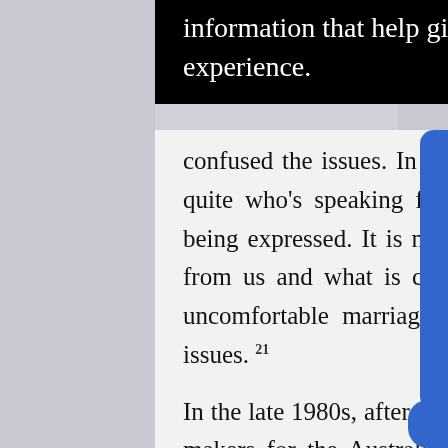information that help give you the very best browsing experience.
confused the issues. In those films one never really knows quite who's speaking for whom, and whose interests are being expressed. It is not clear what in the film is coming from us and what is coming from them ... it's a slightly uncomfortable marriage of interests that masks a lot of issues. 21
In the late 1980s, after more than a decade working as film-makers for the Australian Institute of Aboriginal Studies, the MacDougalls resigned and set themselves up as freelance film-makers. As I describe in Chapter 14, they then began to make films that in authorial terms represented in